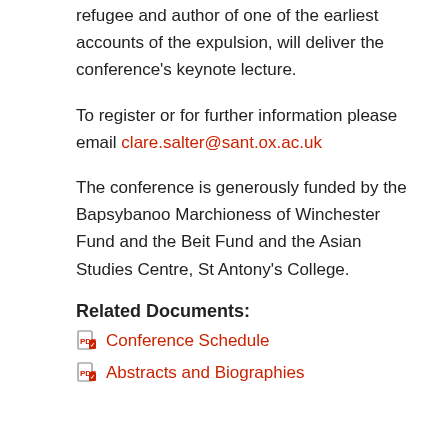refugee and author of one of the earliest accounts of the expulsion, will deliver the conference's keynote lecture.
To register or for further information please email clare.salter@sant.ox.ac.uk
The conference is generously funded by the Bapsybanoo Marchioness of Winchester Fund and the Beit Fund and the Asian Studies Centre, St Antony's College.
Related Documents:
Conference Schedule
Abstracts and Biographies